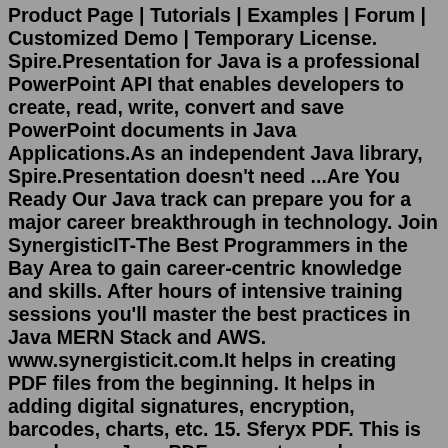Product Page | Tutorials | Examples | Forum | Customized Demo | Temporary License. Spire.Presentation for Java is a professional PowerPoint API that enables developers to create, read, write, convert and save PowerPoint documents in Java Applications.As an independent Java library, Spire.Presentation doesn't need ...Are You Ready Our Java track can prepare you for a major career breakthrough in technology. Join SynergisticIT-The Best Programmers in the Bay Area to gain career-centric knowledge and skills. After hours of intensive training sessions you'll master the best practices in Java MERN Stack and AWS. www.synergisticit.com.It helps in creating PDF files from the beginning. It helps in adding digital signatures, encryption, barcodes, charts, etc. 15. Sferyx PDF. This is an advance Java PDF generator and converter. It doesn't necessarily require you to write too many lines of codes in order to create a complex PDF file.May 19, 2022 · 1. Introduction. In this quick tutorial, we'll focus on creating PDF